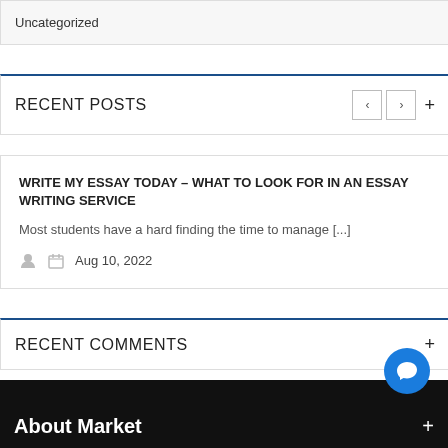Uncategorized
RECENT POSTS
WRITE MY ESSAY TODAY – WHAT TO LOOK FOR IN AN ESSAY WRITING SERVICE
Most students have a hard finding the time to manage [...]
Aug 10, 2022
RECENT COMMENTS
About Market